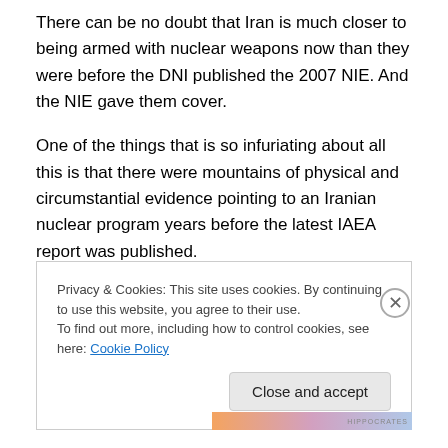There can be no doubt that Iran is much closer to being armed with nuclear weapons now than they were before the DNI published the 2007 NIE. And the NIE gave them cover.
One of the things that is so infuriating about all this is that there were mountains of physical and circumstantial evidence pointing to an Iranian nuclear program years before the latest IAEA report was published.
Consider these anecdotes:
Privacy & Cookies: This site uses cookies. By continuing to use this website, you agree to their use.
To find out more, including how to control cookies, see here: Cookie Policy

Close and accept